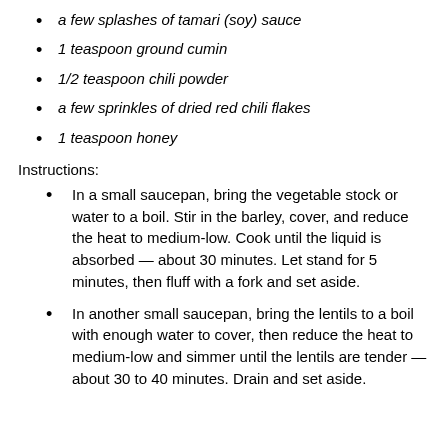a few splashes of tamari (soy) sauce
1 teaspoon ground cumin
1/2 teaspoon chili powder
a few sprinkles of dried red chili flakes
1 teaspoon honey
Instructions:
In a small saucepan, bring the vegetable stock or water to a boil. Stir in the barley, cover, and reduce the heat to medium-low. Cook until the liquid is absorbed — about 30 minutes. Let stand for 5 minutes, then fluff with a fork and set aside.
In another small saucepan, bring the lentils to a boil with enough water to cover, then reduce the heat to medium-low and simmer until the lentils are tender — about 30 to 40 minutes. Drain and set aside.